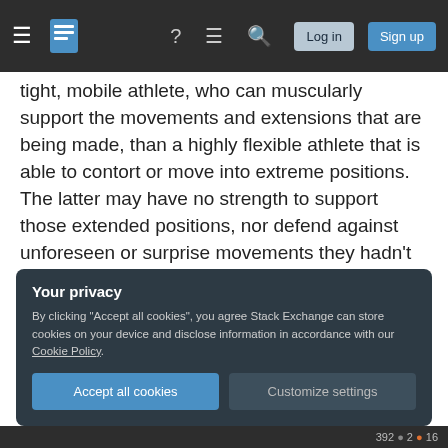Stack Exchange navigation bar with hamburger menu, logo, help, chat, search, Log in, Sign up
tight, mobile athlete, who can muscularly support the movements and extensions that are being made, than a highly flexible athlete that is able to contort or move into extreme positions. The latter may have no strength to support those extended positions, nor defend against unforeseen or surprise movements they hadn't anticipated. In such cases, injury is far more likely.
Mobility is key. Especially in the pursuit of life-long Jiu-Jitsu.
Your privacy
By clicking "Accept all cookies", you agree Stack Exchange can store cookies on your device and disclose information in accordance with our Cookie Policy.
Accept all cookies  Customize settings